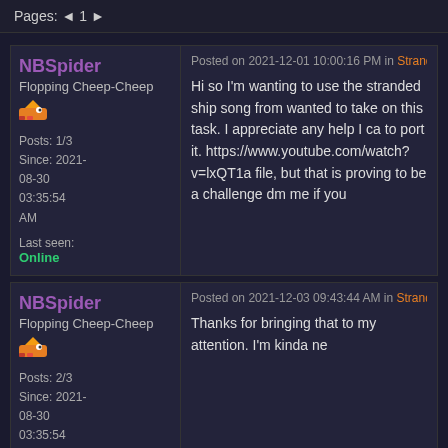Pages: ◄ 1 ►
Posted on 2021-12-01 10:00:16 PM in Stranded Ship Shovel Knight Song
NBSpider
Flopping Cheep-Cheep
Posts: 1/3
Since: 2021-08-30 03:35:54 AM
Last seen: Online
Hi so I'm wanting to use the stranded ship song from wanted to take on this task. I appreciate any help I ca to port it. https://www.youtube.com/watch?v=lxQT1a file, but that is proving to be a challenge dm me if you
Posted on 2021-12-03 09:43:44 AM in Stranded Ship Shovel Knight Song
NBSpider
Flopping Cheep-Cheep
Posts: 2/3
Since: 2021-08-30 03:35:54 AM
Thanks for bringing that to my attention. I'm kinda ne